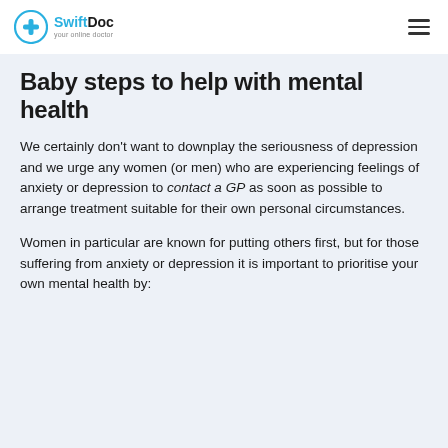SwiftDoc — your online doctor
Baby steps to help with mental health
We certainly don't want to downplay the seriousness of depression and we urge any women (or men) who are experiencing feelings of anxiety or depression to contact a GP as soon as possible to arrange treatment suitable for their own personal circumstances.
Women in particular are known for putting others first, but for those suffering from anxiety or depression it is important to prioritise your own mental health by: